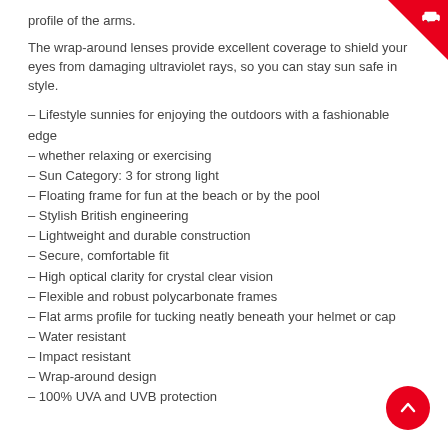profile of the arms.
The wrap-around lenses provide excellent coverage to shield your eyes from damaging ultraviolet rays, so you can stay sun safe in style.
– Lifestyle sunnies for enjoying the outdoors with a fashionable edge
– whether relaxing or exercising
– Sun Category: 3 for strong light
– Floating frame for fun at the beach or by the pool
– Stylish British engineering
– Lightweight and durable construction
– Secure, comfortable fit
– High optical clarity for crystal clear vision
– Flexible and robust polycarbonate frames
– Flat arms profile for tucking neatly beneath your helmet or cap
– Water resistant
– Impact resistant
– Wrap-around design
– 100% UVA and UVB protection